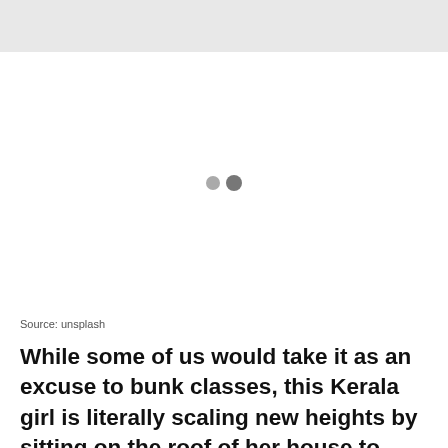[Figure (photo): Loading placeholder with two grey dots indicating an image being loaded (unsplash photo)]
Source: unsplash
While some of us would take it as an excuse to bunk classes, this Kerala girl is literally scaling new heights by sitting on the roof of her house to attend online classes.